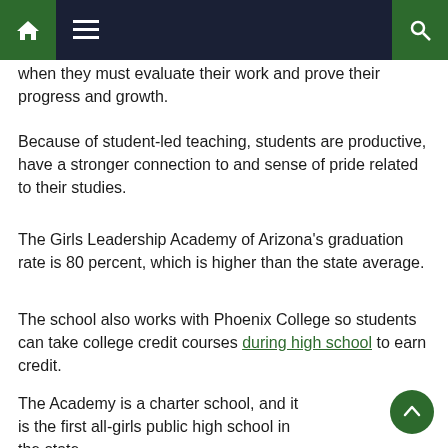Navigation bar with home, menu, and search icons
when they must evaluate their work and prove their progress and growth.
Because of student-led teaching, students are productive, have a stronger connection to and sense of pride related to their studies.
The Girls Leadership Academy of Arizona's graduation rate is 80 percent, which is higher than the state average.
The school also works with Phoenix College so students can take college credit courses during high school to earn credit.
The Academy is a charter school, and it is the first all-girls public high school in the state.